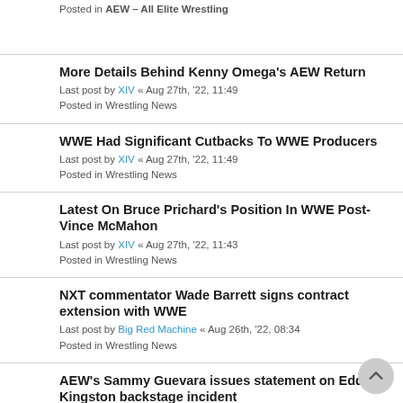Posted in AEW – All Elite Wrestling
More Details Behind Kenny Omega's AEW Return
Last post by XIV « Aug 27th, '22, 11:49
Posted in Wrestling News
WWE Had Significant Cutbacks To WWE Producers
Last post by XIV « Aug 27th, '22, 11:49
Posted in Wrestling News
Latest On Bruce Prichard's Position In WWE Post-Vince McMahon
Last post by XIV « Aug 27th, '22, 11:43
Posted in Wrestling News
NXT commentator Wade Barrett signs contract extension with WWE
Last post by Big Red Machine « Aug 26th, '22, 08:34
Posted in Wrestling News
AEW's Sammy Guevara issues statement on Eddie Kingston backstage incident
Last post by Big Red Machine « Aug 25th, '22, 21:01
Posted in Wrestling News
AEW Dynamite tops one million viewers for Punk vs. Moxley title match
Last post by Big Red Machine « Aug 25th, '22, 15:09
Posted in Wrestling News